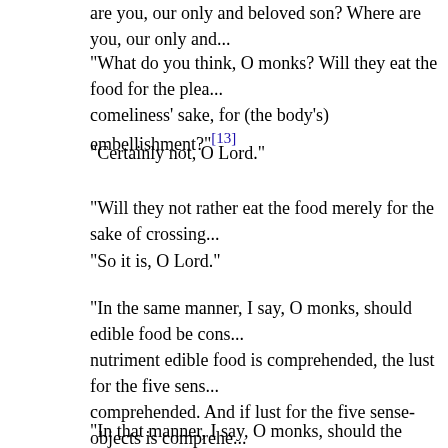are you, our only and beloved son? Where are you, our only and...
"What do you think, O monks? Will they eat the food for the plea... comeliness' sake, for (the body's) embellishment?"[13]
"Certainly not, O Lord."
"Will they not rather eat the food merely for the sake of crossing...
"So it is, O Lord."
"In the same manner, I say, O monks, should edible food be cons... nutriment edible food is comprehended, the lust for the five sens... comprehended. And if lust for the five sense-objects is comprehe... enchained by which a noble disciple might come to this world ag...
"And how, O monks, should the nutriment sense-impression be o... monks, there is a skinned cow that stands close to a wall, then th... will nibble at the cow; and if the skinned cow stands near a tree,... tree will nibble at it; if it stands in the water, the creatures living ir... stands in the open air, the creatures living in the air will nibble at... stands, the creatures living there will nibble at it.
"In that manner, I say, O monks, should the nutriment sense-im...